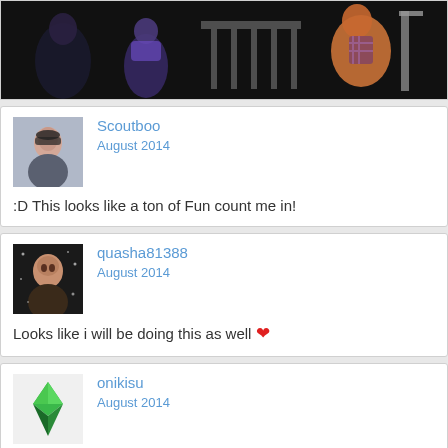[Figure (screenshot): Top banner image showing game characters on dark background]
Scoutboo
August 2014
:D This looks like a ton of Fun count me in!
quasha81388
August 2014
Looks like i will be doing this as well ❤
onikisu
August 2014
I'm so eager to start that I have already created an architecture agency called Jade Prism Design Co.